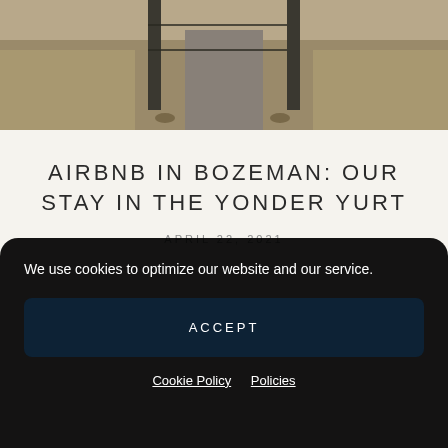[Figure (photo): Photo showing a gravel path with fence posts and dry grass/brush on either side, outdoor rural scene]
AIRBNB IN BOZEMAN: OUR STAY IN THE YONDER YURT
APRIL 22, 2021
We use cookies to optimize our website and our service.
ACCEPT
Cookie Policy   Policies